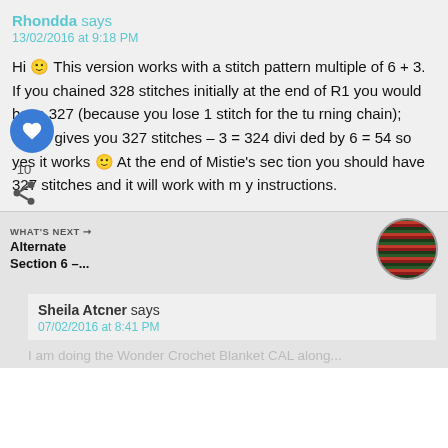Rhondda says
13/02/2016 at 9:18 PM
Hi 🙂 This version works with a stitch pattern multiple of 6 + 3. If you chained 328 stitches initially at the end of R1 you would have 327 (because you lose 1 stitch for the turning chain); which gives you 327 stitches – 3 = 324 divided by 6 = 54 so yes it works 🙂 At the end of Mistie's section you should have 327 stitches and it will work with my instructions.
WHAT'S NEXT →
Alternate Section 6 –...
[Figure (photo): Circular thumbnail image of a crochet blanket with red and green stripes]
Sheila Atcner says
07/02/2016 at 8:41 PM
I am doing the Wonder Crochet Blanket CAL along...